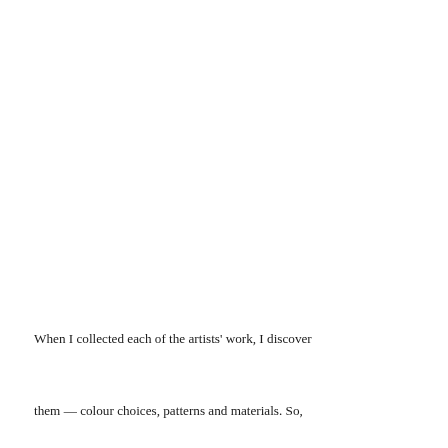When I collected each of the artists' work, I discovered similarities between them — colour choices, patterns and materials. So, rather than grouping works by each artist, I would install similar works together to highlight this technical exploration, creating a new narrative of their practice. For example, digital paintings by Tom Colleran and Paul Moleiro's… of their works grouped individually but overall the ex… was collaboratively created.